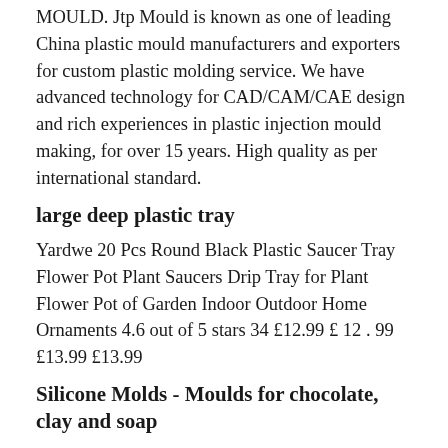MOULD. Jtp Mould is known as one of leading China plastic mould manufacturers and exporters for custom plastic molding service. We have advanced technology for CAD/CAM/CAE design and rich experiences in plastic injection mould making, for over 15 years. High quality as per international standard.
large deep plastic tray
Yardwe 20 Pcs Round Black Plastic Saucer Tray Flower Pot Plant Saucers Drip Tray for Plant Flower Pot of Garden Indoor Outdoor Home Ornaments 4.6 out of 5 stars 34 £12.99 £ 12 . 99 £13.99 £13.99
Silicone Molds - Moulds for chocolate, clay and soap
Great Molds. Manage Subscriptions £8.99 Ice Ball Mould Set of 2 £10.50 Status Kitchen 3 Pack Christmas Silicone Moulds £6.02 Dexam Silicone Jelly Baby Mini Mould £6.08 Nonstick 4 Pcs Silicone Chocolate Mould ...